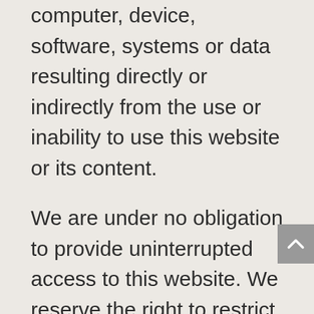computer, device, software, systems or data resulting directly or indirectly from the use or inability to use this website or its content.
We are under no obligation to provide uninterrupted access to this website. We reserve the right to restrict your access to this website at any time and for any reason.
We do not guarantee that the contents of this website will be free of errors, bugs, worms, trojans or viruses or otherwise make any representations